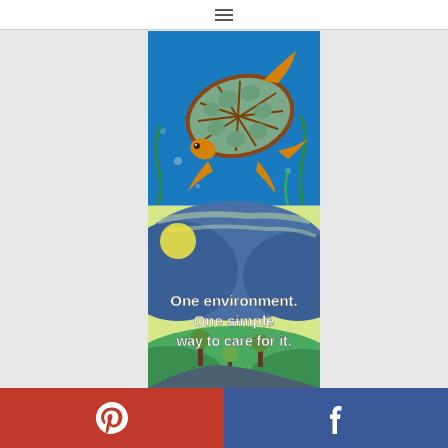hamburger menu icon
[Figure (illustration): A colorful illustrated bookmark-style image in two parts: upper portion shows a sea turtle swimming in blue underwater water with bubbles and green seaweed; lower portion shows a landscape scene with rolling blue mountains, yellow-green sky, sun, and trees in the foreground, with white bold text reading 'One environment. One simple way to care for it.']
Pinterest share button | Facebook share button